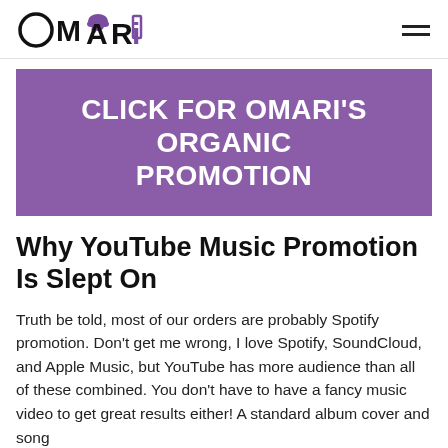OMARI [logo]
[Figure (logo): Omari logo with stylized text and hamburger menu icon]
[Figure (infographic): Purple banner with white bold text reading: CLICK FOR OMARI'S ORGANIC PROMOTION]
Why YouTube Music Promotion Is Slept On
Truth be told, most of our orders are probably Spotify promotion. Don't get me wrong, I love Spotify, SoundCloud, and Apple Music, but YouTube has more audience than all of these combined. You don't have to have a fancy music video to get great results either! A standard album cover and song